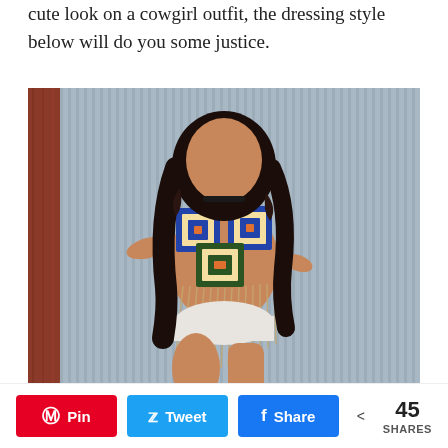cute look on a cowgirl outfit, the dressing style below will do you some justice.
[Figure (photo): A woman with long curly black hair wearing a crochet patchwork crop top with fringe and white shorts, posing against a corrugated metal wall with a red wooden post.]
Pin  Tweet  Share  < 45 SHARES